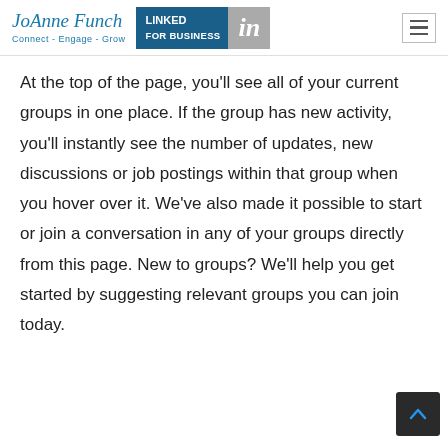JoAnne Funch Connect - Engage - Grow | LinkedIn For Business
At the top of the page, you'll see all of your current groups in one place. If the group has new activity, you'll instantly see the number of updates, new discussions or job postings within that group when you hover over it. We've also made it possible to start or join a conversation in any of your groups directly from this page. New to groups? We'll help you get started by suggesting relevant groups you can join today.